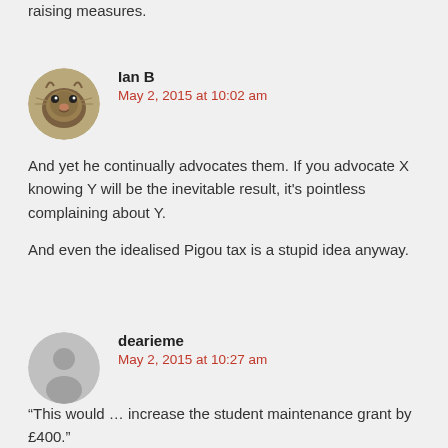raising measures.
Ian B
May 2, 2015 at 10:02 am
And yet he continually advocates them. If you advocate X knowing Y will be the inevitable result, it's pointless complaining about Y.

And even the idealised Pigou tax is a stupid idea anyway.
dearieme
May 2, 2015 at 10:27 am
“This would … increase the student maintenance grant by £400.”